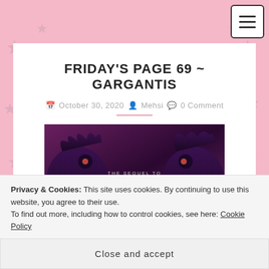FRIDAY'S PAGE 69 ~ GARGANTIS
October 30, 2020  Mehsi  0 Comment
[Figure (illustration): Book cover for Gargantis, the sequel to Malamander, showing dark purple monster silhouettes and large stylized title text on a dark purple/maroon background.]
Privacy & Cookies: This site uses cookies. By continuing to use this website, you agree to their use.
To find out more, including how to control cookies, see here: Cookie Policy
Close and accept